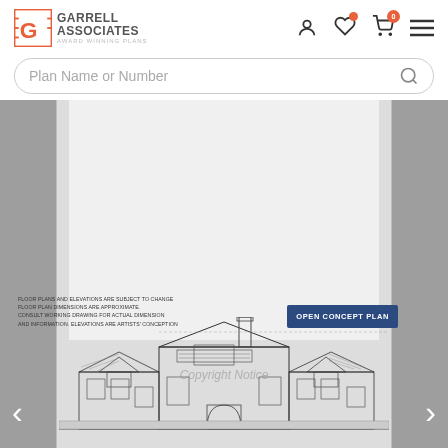[Figure (logo): Garrell Associates award winning plans logo with orange G icon]
Plan Name or Number
[Figure (engineering-diagram): House elevation architectural drawing showing front facade of a large craftsman/rustic style home with multiple gabled dormers, stone accents, and covered entry. Disclaimer text: FLOOR PLANS AND ELEVATIONS ARE SUBJECT TO CHANGE. FLOOR PLAN DIMENSIONS ARE APPROXIMATE. CONSULT WORKING DRAWING FOR ACTUAL DIMENSION AND INFORMATION. ELEVATIONS ARE ARTISTS' CONCEPTION. Button: OPEN CONCEPT PLAN. Watermark: Copyright notice.]